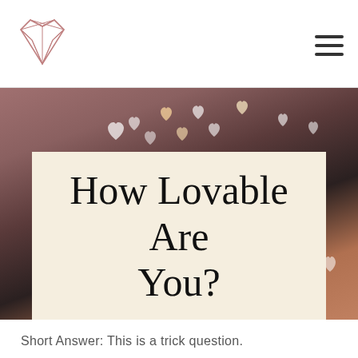Logo and navigation menu
[Figure (photo): Hero photo background with bokeh heart shapes floating in the air, warm tones of pink, brown, and dark. An overlay cream/beige box contains the title text 'How Lovable Are You?']
How Lovable Are You?
Short Answer: This is a trick question.
You are 100% absolutely...